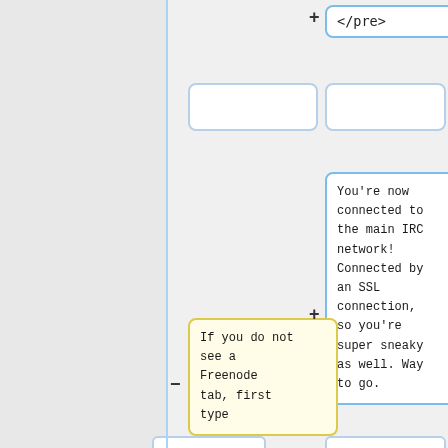</pre>
You're now connected to the main IRC network! Connected by an SSL connection, so you're super sneaky as well. Way to go.
If you do not see a Freenode tab, first type